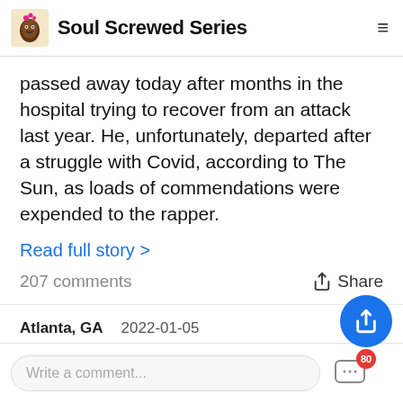Soul Screwed Series
passed away today after months in the hospital trying to recover from an attack last year. He, unfortunately, departed after a struggle with Covid, according to The Sun, as loads of commendations were expended to the rapper.
Read full story >
207 comments   Share
Atlanta, GA   2022-01-05
Dennis McKinley Accused of Harassments Against Porsha Willi